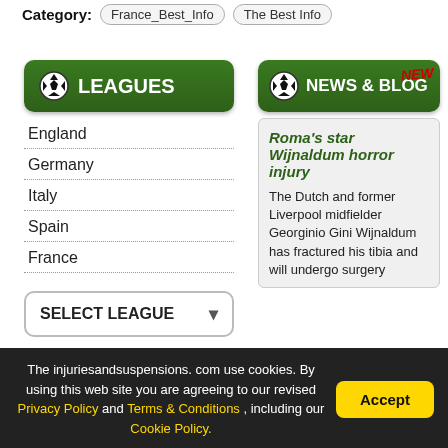Category: France_Best_Info  The Best Info
LEAGUES
England
Germany
Italy
Spain
France
SELECT LEAGUE
NEWS & BLOG NEW
Roma's star Wijnaldum horror injury
The Dutch and former Liverpool midfielder Georginio Gini Wijnaldum has fractured his tibia and will undergo surgery
SUBSCRIBE
The injuriesandsuspensions. com use cookies. By using this web site you are agreeing to our revised Privacy Policy and Terms & Conditions , including our Cookie Policy.